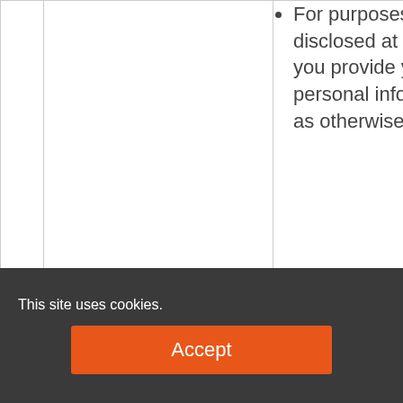For purposes disclosed at the time you provide your personal information or as otherwise set forth
This site uses cookies.
Accept